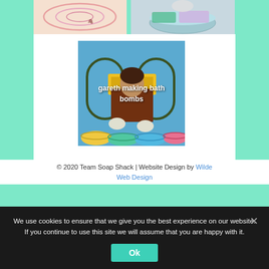[Figure (photo): Two photos side by side at top: left shows a pink swirl pattern (bath bomb or soap), right shows colorful powder in bowls]
[Figure (photo): Center photo of Gareth making bath bombs, showing a person working with colored powder in bowls, with caption 'gareth making bath bombs']
gareth making bath bombs
© 2020 Team Soap Shack | Website Design by Wilde Web Design
We use cookies to ensure that we give you the best experience on our website. If you continue to use this site we will assume that you are happy with it.